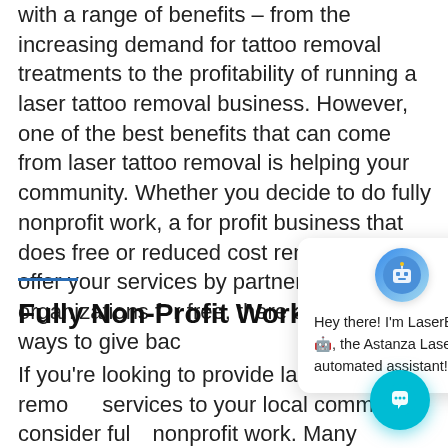with a range of benefits – from the increasing demand for tattoo removal treatments to the profitability of running a laser tattoo removal business. However, one of the best benefits that can come from laser tattoo removal is helping your community. Whether you decide to do fully nonprofit work, a for profit business that does free or reduced cost removals, or you offer your services by partnering with local organizations for free, there are many ways to give bac
[Figure (screenshot): Chat popup overlay showing a robot avatar and text: Hey there! I'm LaserBot, the Astanza Laser automated assistant! with a close (×) button, and a teal chat bubble button in the bottom right corner.]
Fully Non-Profit Work
If you're looking to provide laser tattoo removal services to your local community, consider fully nonprofit work. Many individuals are hindered in